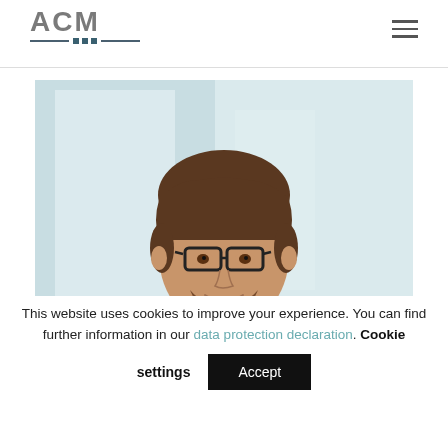ACM
[Figure (photo): Professional headshot of a young man with brown hair, glasses, beard, wearing a dark suit and blue tie, light background]
This website uses cookies to improve your experience. You can find further information in our data protection declaration. Cookie settings Accept